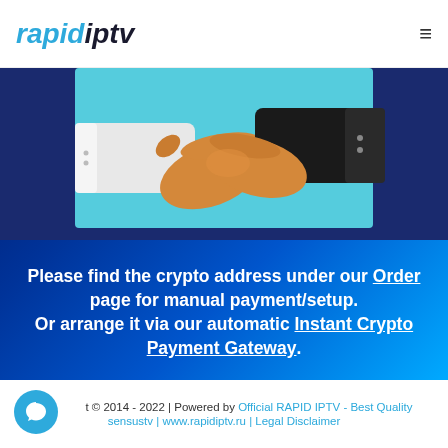rapidiptv
[Figure (illustration): Two hands shaking — one in a white sleeve and one in a dark/black sleeve — against a teal/light blue background. A handshake illustration.]
Please find the crypto address under our Order page for manual payment/setup. Or arrange it via our automatic Instant Crypto Payment Gateway.
Copyright © 2014 - 2022 | Powered by Official RAPID IPTV - Best Quality sensustv | www.rapidiptv.ru | Legal Disclaimer